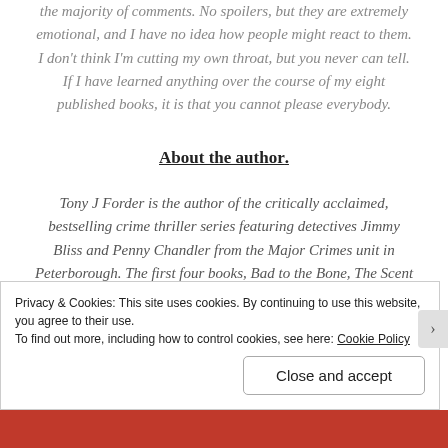the majority of comments. No spoilers, but they are extremely emotional, and I have no idea how people might react to them. I don't think I'm cutting my own throat, but you never can tell. If I have learned anything over the course of my eight published books, it is that you cannot please everybody.
About the author.
Tony J Forder is the author of the critically acclaimed, bestselling crime thriller series featuring detectives Jimmy Bliss and Penny Chandler from the Major Crimes unit in Peterborough. The first four books, Bad to the Bone, The Scent of Guilt, If Fear Wins, and The Reach of Shadows, will soon be
Privacy & Cookies: This site uses cookies. By continuing to use this website, you agree to their use.
To find out more, including how to control cookies, see here: Cookie Policy
Close and accept